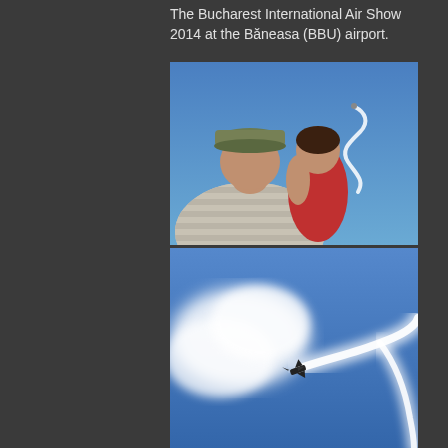The Bucharest International Air Show 2014 at the Băneasa (BBU) airport.
[Figure (photo): Two people viewed from behind watching an airshow, against a blue sky with a smoke trail from an aircraft forming a looping shape.]
[Figure (photo): An aircraft performing aerobatics against a blue sky, leaving a dramatic white smoke trail in a sweeping curved pattern.]